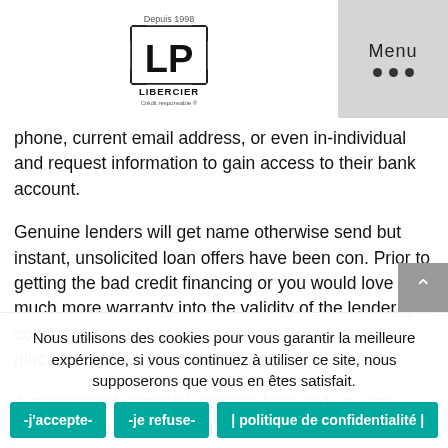LP LIBERCIER - Depuis 1998 - Menu
phone, current email address, or even in-individual and request information to gain access to their bank account.
Genuine lenders will get name otherwise send but instant, unsolicited loan offers have been con. Prior to getting the bad credit financing or you would love much more warranty into the validity of the lender, you could opinion their lender's degree from the taking place a state lawyer general's site.
A guaranteed approval, unclear fees and you can financing standards, otherwise hints the new irrelevance of a already discussing company for a loan. Thus, incapable of doing a detrimental borrowing financing.
Nous utilisons des cookies pour vous garantir la meilleure expérience, si vous continuez à utiliser ce site, nous supposerons que vous en êtes satisfait.